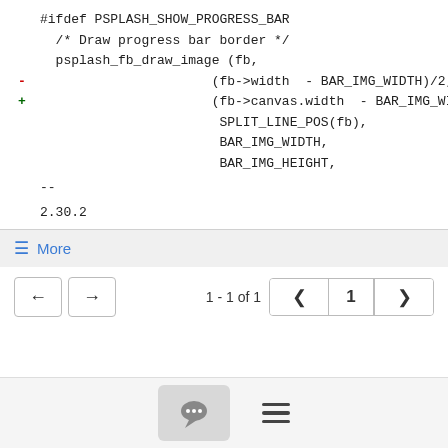#ifdef PSPLASH_SHOW_PROGRESS_BAR
  /* Draw progress bar border */
  psplash_fb_draw_image (fb,
-                       (fb->width  - BAR_IMG_WIDTH)/2,
+                       (fb->canvas.width  - BAR_IMG_WIDTH)/2,
                        SPLIT_LINE_POS(fb),
                        BAR_IMG_WIDTH,
                        BAR_IMG_HEIGHT,
--
2.30.2
≡ More
[Figure (other): Navigation UI with back/forward arrow buttons and page pagination showing '1 - 1 of 1' with page 1 selected]
[Figure (other): Bottom toolbar with chat bubble icon button and hamburger menu icon]